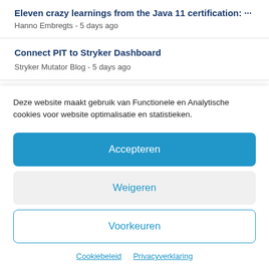Eleven crazy learnings from the Java 11 certification: ... Hanno Embregts - 5 days ago
Connect PIT to Stryker Dashboard
Stryker Mutator Blog - 5 days ago
Deze website maakt gebruik van Functionele en Analytische cookies voor website optimalisatie en statistieken.
Accepteren
Weigeren
Voorkeuren
Cookiebeleid   Privacyverklaring